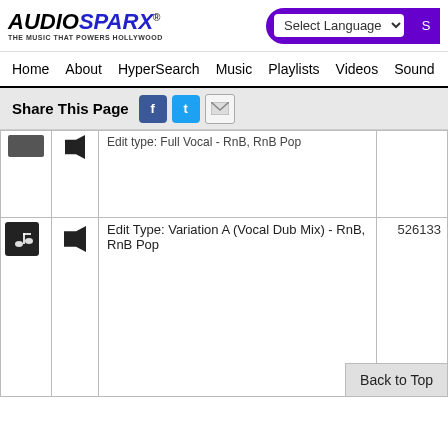AudioSparx - The Music That Powers Hollywood
Select Language
Home | About | HyperSearch | Music | Playlists | Videos | Sound
Share This Page
Edit type: Full Vocal - RnB, RnB Pop
Edit Type: Variation A (Vocal Dub Mix) - RnB, RnB Pop
526133
Back to Top